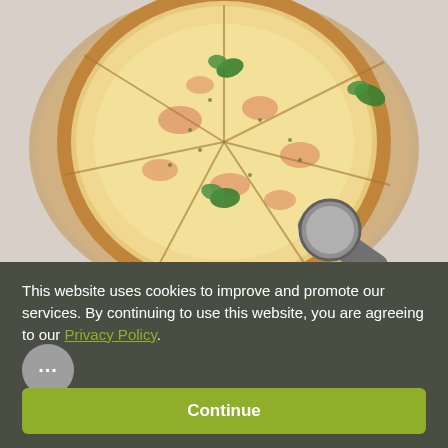[Figure (photo): A top-down photo of a sliced pizza topped with melted cheese, red meat (salami/prosciutto), fresh parsley leaves, and herbs, resting on crinkled brown parchment paper. A stainless steel pizza cutter is visible at the lower right. Light gray background.]
This website uses cookies to improve and promote our services. By continuing to use this website, you are agreeing to our Privacy Policy.
Continue